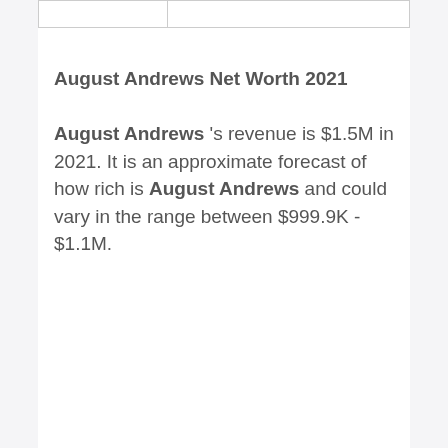|  |  |
| --- | --- |
|  |  |
August Andrews Net Worth 2021
August Andrews 's revenue is $1.5M in 2021. It is an approximate forecast of how rich is August Andrews and could vary in the range between $999.9K - $1.1M.